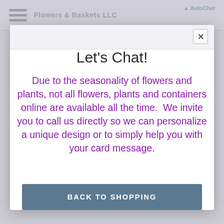[Figure (screenshot): A chat modal popup overlay on a florist website. The modal has a white background with 'Let's Chat!' as the title. Below is purple text explaining flower seasonality and inviting customers to call. A 'BACK TO SHOPPING' button appears at the bottom. The background shows a faded florist website with grayed-out text.]
Let's Chat!
Due to the seasonality of flowers and plants, not all flowers, plants and containers online are available all the time.  We invite you to call us directly so we can personalize a unique design or to simply help you with your card message.
BACK TO SHOPPING